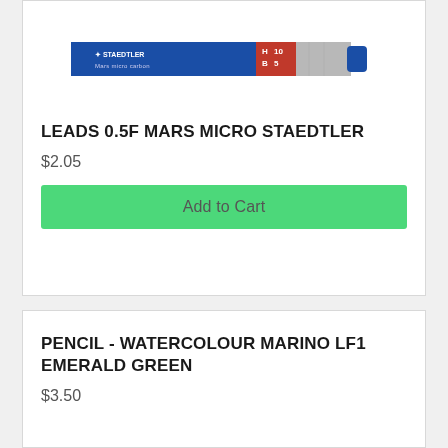[Figure (photo): Staedtler Mars Micro Carbon pencil leads tube, 0.5mm, HB grade]
LEADS 0.5F MARS MICRO STAEDTLER
$2.05
Add to Cart
PENCIL - WATERCOLOUR MARINO LF1 EMERALD GREEN
$3.50